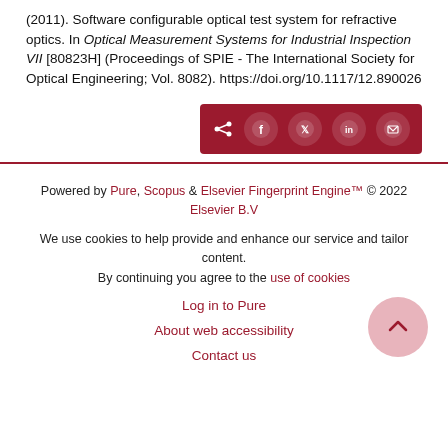(2011). Software configurable optical test system for refractive optics. In Optical Measurement Systems for Industrial Inspection VII [80823H] (Proceedings of SPIE - The International Society for Optical Engineering; Vol. 8082). https://doi.org/10.1117/12.890026
[Figure (other): Dark red share bar with share icon and social media icons: Facebook, Twitter, LinkedIn, Email]
Powered by Pure, Scopus & Elsevier Fingerprint Engine™ © 2022 Elsevier B.V

We use cookies to help provide and enhance our service and tailor content. By continuing you agree to the use of cookies

Log in to Pure

About web accessibility

Contact us